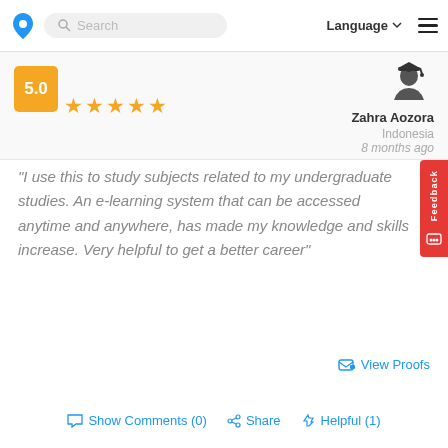Search | Language | Menu
[Figure (other): Rating badge showing 5.0 with orange background and 5 gold stars]
Zahra Aozora
Indonesia
8 months ago
“I use this to study subjects related to my undergraduate studies. An e-learning system that can be accessed anytime and anywhere, has made my knowledge and skills increase. Very helpful to get a better career”
View Proofs
Show Comments (0)  Share  Helpful (1)